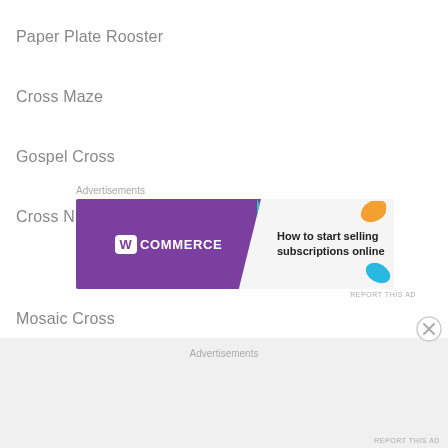Paper Plate Rooster
Cross Maze
Gospel Cross
Cross Number Game
[Figure (other): WooCommerce advertisement banner: purple background with WooCommerce logo on left, teal arrow shape, and text 'How to start selling subscriptions online' on right with orange and blue leaf decorations. Labeled 'Advertisements' above and 'REPORT THIS AD' below.]
Mosaic Cross
Cross Sun Catcher
Stained Glass Window Sun Catcher
[Figure (other): Bottom advertisements bar with gray background, 'Advertisements' label, close button (X circle) on right side, and 'REPORT THIS AD' text at bottom right.]